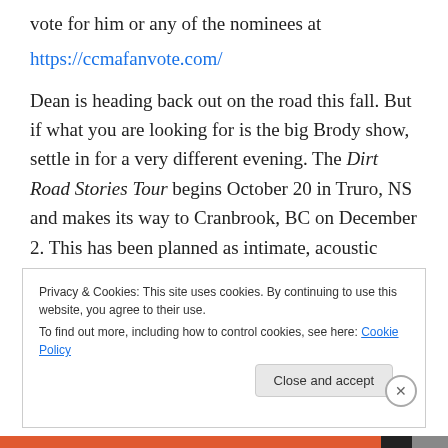vote for him or any of the nominees at
https://ccmafanvote.com/
Dean is heading back out on the road this fall. But if what you are looking for is the big Brody show, settle in for a very different evening. The Dirt Road Stories Tour begins October 20 in Truro, NS and makes its way to Cranbrook, BC on December 2. This has been planned as intimate, acoustic show where he showcases his talent as as both a songwriter and a storyteller. Brody, if nothing, is a poet, so for me this is the perfect venue to enjoy his craft. He
Privacy & Cookies: This site uses cookies. By continuing to use this website, you agree to their use.
To find out more, including how to control cookies, see here: Cookie Policy